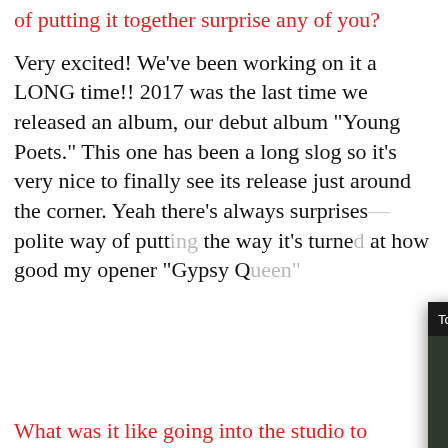of putting it together surprise any of you?
Very excited! We've been working on it a LONG time!! 2017 was the last time we released an album, our debut album “Young Poets.” This one has been a long slog so it’s very nice to finally see its release just around the corner. Yeah there’s always surprises- [obscured] polite way of putt[ing it] the way it’s turne[d out] at how good my [... opener “Gypsy Q[ueen”]
[Figure (screenshot): Video popup overlay showing 'Top Entertainment: - Rolling Stone x VM...' with a muted video thumbnail of two people being interviewed on a red carpet, one in a red jacket and one in a light pink top holding a microphone. There is a mute icon (orange circle with speaker crossed out) and a close (X) button.]
What was it like going into the studio to